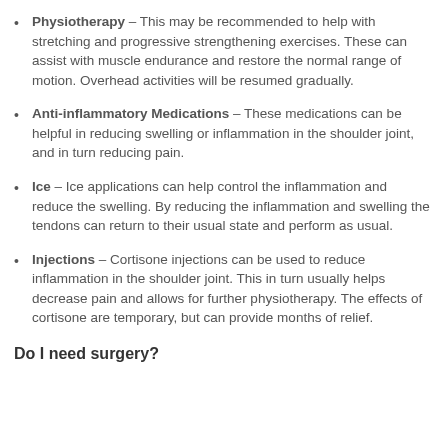Physiotherapy – This may be recommended to help with stretching and progressive strengthening exercises. These can assist with muscle endurance and restore the normal range of motion. Overhead activities will be resumed gradually.
Anti-inflammatory Medications – These medications can be helpful in reducing swelling or inflammation in the shoulder joint, and in turn reducing pain.
Ice – Ice applications can help control the inflammation and reduce the swelling. By reducing the inflammation and swelling the tendons can return to their usual state and perform as usual.
Injections – Cortisone injections can be used to reduce inflammation in the shoulder joint. This in turn usually helps decrease pain and allows for further physiotherapy. The effects of cortisone are temporary, but can provide months of relief.
Do I need surgery?